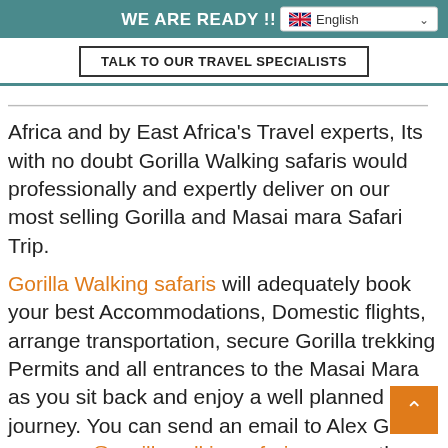WE ARE READY !! LETS
Africa and by East Africa's Travel experts, Its with no doubt Gorilla Walking safaris would professionally and expertly deliver on our most selling Gorilla and Masai mara Safari Trip.
Gorilla Walking safaris will adequately book your best Accommodations, Domestic flights, arrange transportation, secure Gorilla trekking Permits and all entrances to the Masai Mara as you sit back and enjoy a well planned journey. You can send an email to Alex Guma on guma@gorillawalkingsafaris.com as the Gorillas and Masai mara safari expert for